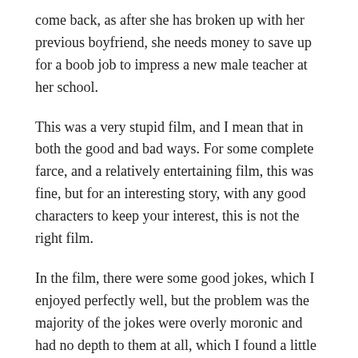come back, as after she has broken up with her previous boyfriend, she needs money to save up for a boob job to impress a new male teacher at her school.
This was a very stupid film, and I mean that in both the good and bad ways. For some complete farce, and a relatively entertaining film, this was fine, but for an interesting story, with any good characters to keep your interest, this is not the right film.
In the film, there were some good jokes, which I enjoyed perfectly well, but the problem was the majority of the jokes were overly moronic and had no depth to them at all, which I found a little disappointing.
Also, all of the characters were extremely annoying in this film. Cameron Diaz's character was too 'bad' and lazy to be at all